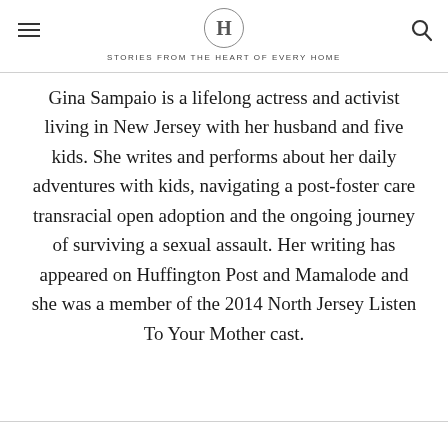H — STORIES FROM THE HEART OF EVERY HOME
Gina Sampaio is a lifelong actress and activist living in New Jersey with her husband and five kids. She writes and performs about her daily adventures with kids, navigating a post-foster care transracial open adoption and the ongoing journey of surviving a sexual assault. Her writing has appeared on Huffington Post and Mamalode and she was a member of the 2014 North Jersey Listen To Your Mother cast.